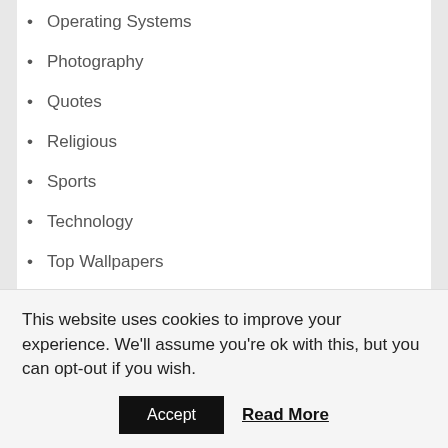Operating Systems
Photography
Quotes
Religious
Sports
Technology
Top Wallpapers
Travel & World
Vehicles
RECENT WALLPAPERS & IMAGES
Eternals Wallpapers
Sydney Opera House Wallpapers
Crossout Wallpapers
This website uses cookies to improve your experience. We'll assume you're ok with this, but you can opt-out if you wish.
Accept  Read More